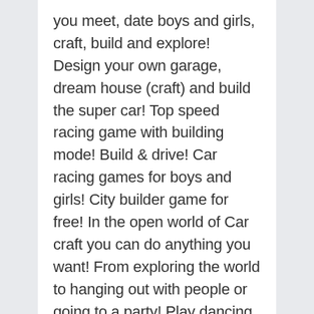you meet, date boys and girls, craft, build and explore! Design your own garage, dream house (craft) and build the super car! Top speed racing game with building mode! Build & drive! Car racing games for boys and girls! City builder game for free! In the open world of Car craft you can do anything you want! From exploring the world to hanging out with people or going to a party! Play dancing minigames, go to the bar or college party! Visit restaurant or ride the metro in blocky world! Crafting game for boys and girls (girls craft). Build using blocks (block craft), craft unique items, unlock the custom power ups and